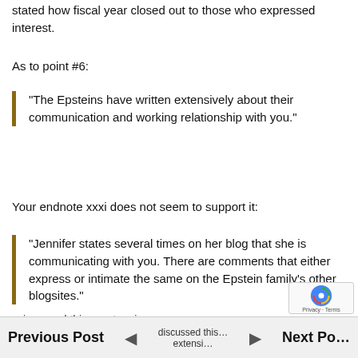stated how fiscal year closed out to those who expressed interest.
As to point #6:
“The Epsteins have written extensively about their communication and working relationship with you.”
Your endnote xxxi does not seem to support it:
“Jennifer states several times on her blog that she is communicating with you. There are comments that either express or intimate the same on the Epstein family’s other blogsites.”
...discussed this... extensi...
Previous Post | Next Post